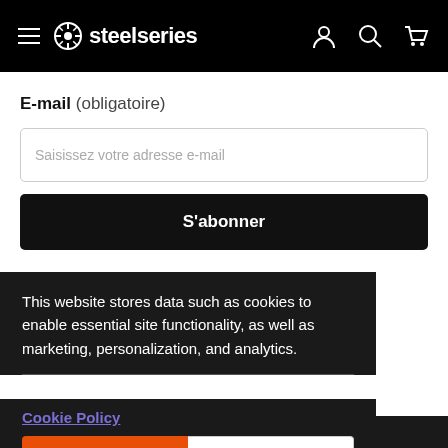steelseries
E-mail (obligatoire)
Saisissez votre adresse e-mail
S'abonner
This website stores data such as cookies to enable essential site functionality, as well as marketing, personalization, and analytics.
Cookie Policy
Accept
Deny
Souris